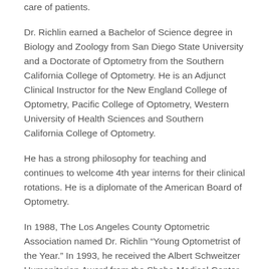care of patients.
Dr. Richlin earned a Bachelor of Science degree in Biology and Zoology from San Diego State University and a Doctorate of Optometry from the Southern California College of Optometry. He is an Adjunct Clinical Instructor for the New England College of Optometry, Pacific College of Optometry, Western University of Health Sciences and Southern California College of Optometry.
He has a strong philosophy for teaching and continues to welcome 4th year interns for their clinical rotations. He is a diplomate of the American Board of Optometry.
In 1988, The Los Angeles County Optometric Association named Dr. Richlin “Young Optometrist of the Year.” In 1993, he received the Albert Schweitzer Humanitarian Award from the Sheba Medical Center